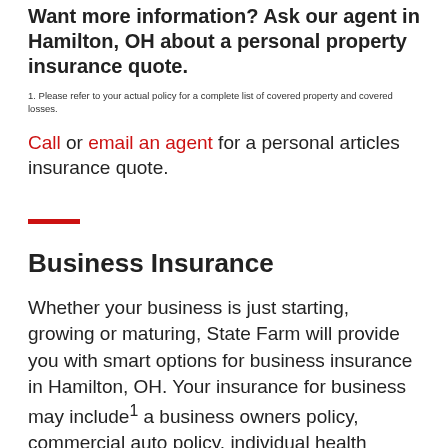Want more information? Ask our agent in Hamilton, OH about a personal property insurance quote.
1. Please refer to your actual policy for a complete list of covered property and covered losses.
Call or email an agent for a personal articles insurance quote.
Business Insurance
Whether your business is just starting, growing or maturing, State Farm will provide you with smart options for business insurance in Hamilton, OH. Your insurance for business may include¹ a business owners policy, commercial auto policy, individual health policy or even workers' compensation. Like you, our agents are small business owners who know the importance of